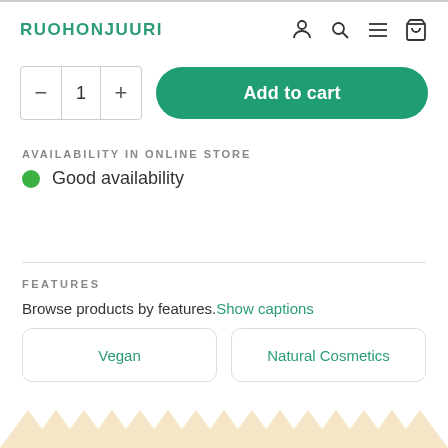RUOHONJUURI
– 1 + Add to cart
AVAILABILITY IN ONLINE STORE
Good availability
FEATURES
Browse products by features. Show captions
Vegan
Natural Cosmetics